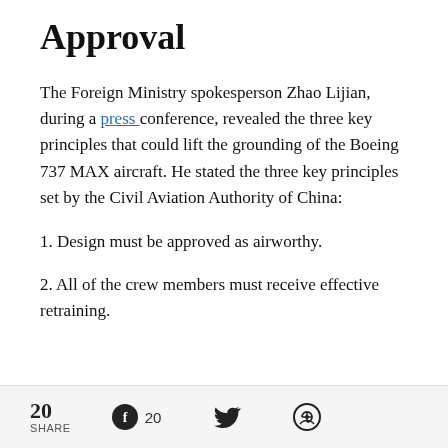Approval
The Foreign Ministry spokesperson Zhao Lijian, during a press conference, revealed the three key principles that could lift the grounding of the Boeing 737 MAX aircraft. He stated the three key principles set by the Civil Aviation Authority of China:
1. Design must be approved as airworthy.
2. All of the crew members must receive effective retraining.
20 SHARE  20